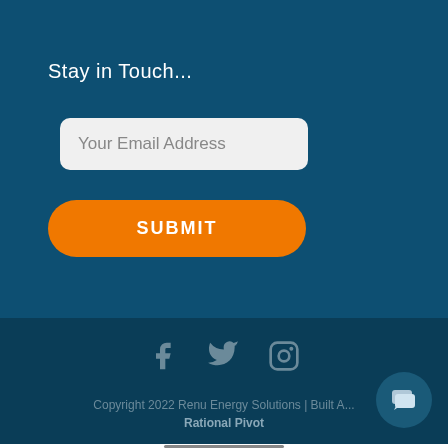Stay in Touch...
Your Email Address
SUBMIT
[Figure (infographic): Social media icons: Facebook, Twitter, Instagram]
Copyright 2022 Renu Energy Solutions | Built A... Rational Pivot